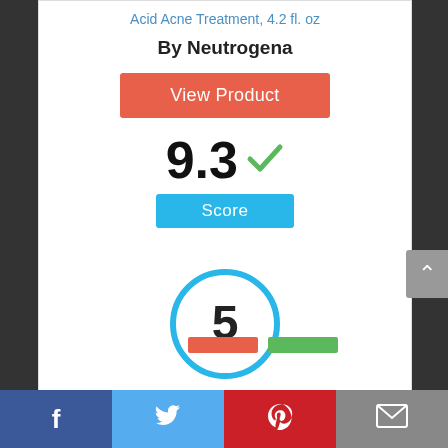Acid Acne Treatment, 4.2 fl. oz
By Neutrogena
View Product
9.3 ✓
Score
[Figure (infographic): Circle badge with number 5 inside, outlined in blue]
Facebook | Twitter | Pinterest | Email social share bar